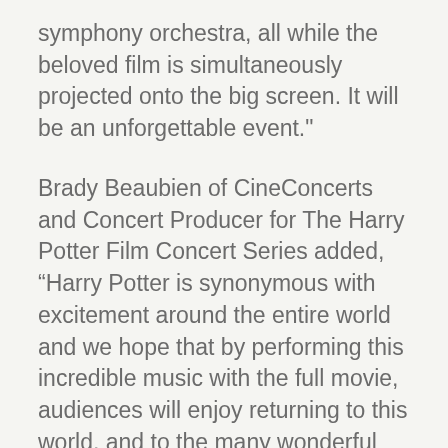symphony orchestra, all while the beloved film is simultaneously projected onto the big screen. It will be an unforgettable event."
Brady Beaubien of CineConcerts and Concert Producer for The Harry Potter Film Concert Series added, “Harry Potter is synonymous with excitement around the entire world and we hope that by performing this incredible music with the full movie, audiences will enjoy returning to this world, and to the many wonderful characters and adventures that inhabit it."
This concert tour series begins with Harry Potter and The Sorcerer's Stone with a score composed by award-winning film composer